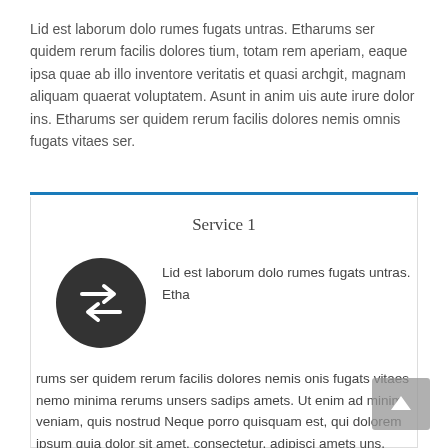Lid est laborum dolo rumes fugats untras. Etharums ser quidem rerum facilis dolores tium, totam rem aperiam, eaque ipsa quae ab illo inventore veritatis et quasi archgit, magnam aliquam quaerat voluptatem. Asunt in anim uis aute irure dolor ins. Etharums ser quidem rerum facilis dolores nemis omnis fugats vitaes ser.
Service 1
[Figure (illustration): Dark circular icon with two overlapping arrows pointing in opposite diagonal directions (shuffle/exchange icon) on a dark grey background]
Lid est laborum dolo rumes fugats untras. Etha rums ser quidem rerum facilis dolores nemis onis fugats vitaes nemo minima rerums unsers sadips amets. Ut enim ad minim veniam, quis nostrud Neque porro quisquam est, qui dolorem ipsum quia dolor sit amet, consectetur, adipisci amets uns. Etharums ser quidem rerum. Nemo enim ipsam voluptatem quia voluptas sit aspernatur aut odit aut fugit, sed quia consequuntur magni dolores eos qui ratione voluptatem sequi nesciunt. Asunt